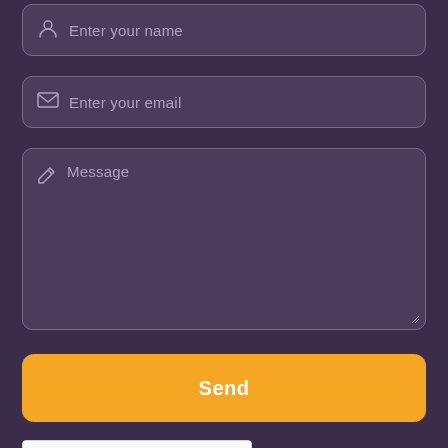[Figure (screenshot): Contact form UI with dark purple background. Contains: name input field with person icon and placeholder 'Enter your name', email input field with envelope icon and placeholder 'Enter your email', message textarea with pencil icon and placeholder 'Message', an orange 'Send' button, and a reCAPTCHA widget with checkbox 'I'm not a robot'.]